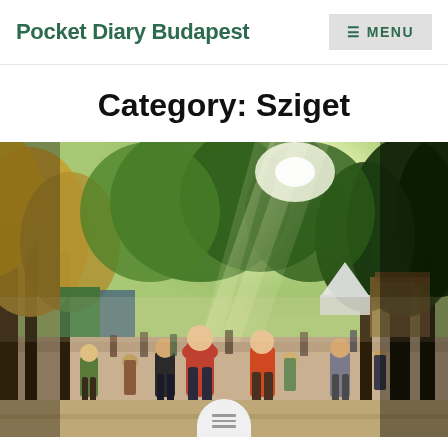Pocket Diary Budapest
Category: Sziget
[Figure (photo): Outdoor festival scene at Sziget with crowds of people walking along a tree-lined path, sunlight streaming through green trees, festival tents and stalls visible in the background, people wearing casual summer clothes, warm sunny atmosphere.]